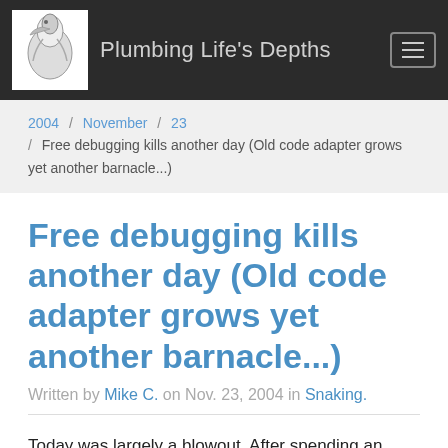Plumbing Life's Depths
2004 / November / 23 / Free debugging kills another day (Old code adapter grows yet another barnacle...)
Free debugging kills another day (Old code adapter grows yet another barnacle...)
Written by Mike C. on Nov. 23, 2004 in Snaking.
Today was largely a blowout. After spending an hour or two reviewing and trying to plan out the hotspot project I realised I wasn't functional and took a nap (didn't sleep